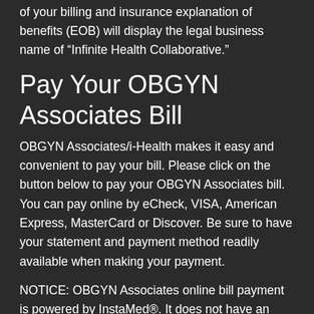of your billing and insurance explanation of benefits (EOB) will display the legal business name of “Infinite Health Collaborative.”
Pay Your OBGYN Associates Bill
OBGYN Associates/i-Health makes it easy and convenient to pay your bill. Please click on the button below to pay your OBGYN Associates bill. You can pay online by eCheck, VISA, American Express, MasterCard or Discover. Be sure to have your statement and payment method readily available when making your payment.
NOTICE: OBGYN Associates online bill payment is powered by InstaMed®. It does not have an affiliation with any other online bill payment directory or processor. Patients have reported third party services fees and other